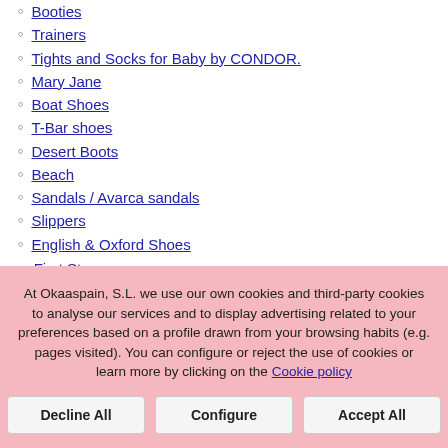Booties
Trainers
Tights and Socks for Baby by CONDOR.
Mary Jane
Boat Shoes
T-Bar shoes
Desert Boots
Beach
Sandals / Avarca sandals
Slippers
English & Oxford Shoes
First Steps
Espadrilles
Avarca sandals
Ballerinas
Booties
Rain boots
At Okaaspain, S.L. we use our own cookies and third-party cookies to analyse our services and to display advertising related to your preferences based on a profile drawn from your browsing habits (e.g. pages visited). You can configure or reject the use of cookies or learn more by clicking on the Cookie policy